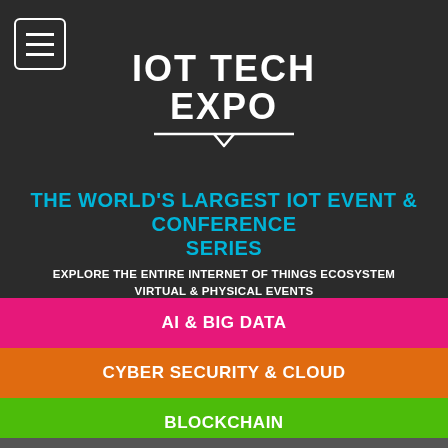[Figure (logo): IOT TECH EXPO logo with hamburger menu icon on dark background]
THE WORLD'S LARGEST IOT EVENT & CONFERENCE SERIES
EXPLORE THE ENTIRE INTERNET OF THINGS ECOSYSTEM
VIRTUAL & PHYSICAL EVENTS
AI & BIG DATA
CYBER SECURITY & CLOUD
BLOCKCHAIN
EDGE COMPUTING
DIGITAL TRANSFORMATION